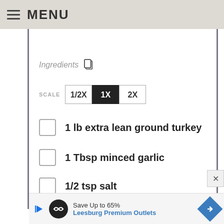MENU
Ingredients
SCALE  1/2X  1X  2X
1 lb extra lean ground turkey
1 Tbsp minced garlic
1/2 tsp salt
1/4 tsp pepper
[Figure (other): Advertisement banner: Save Up to 65% Leesburg Premium Outlets]